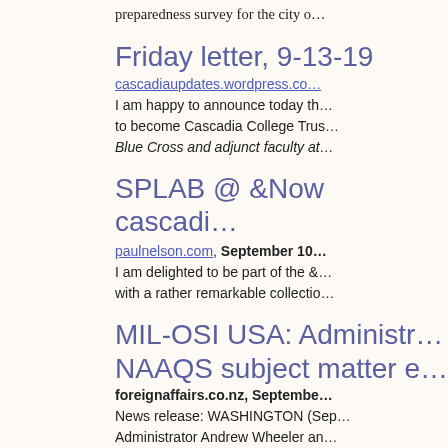preparedness survey for the city o…
Friday letter, 9-13-19
cascadiaupdates.wordpress.co…
I am happy to announce today th… to become Cascadia College Trus… Blue Cross and adjunct faculty at…
SPLAB @ &Now cascadi…
paulnelson.com, September 10…
I am delighted to be part of the &… with a rather remarkable collectio…
MIL-OSI USA: Administr… NAAQS subject matter e…
foreignaffairs.co.nz, Septembe…
News release: WASHINGTON (Sep… Administrator Andrew Wheeler an… Advisory Committee (CASAC), Dr.…